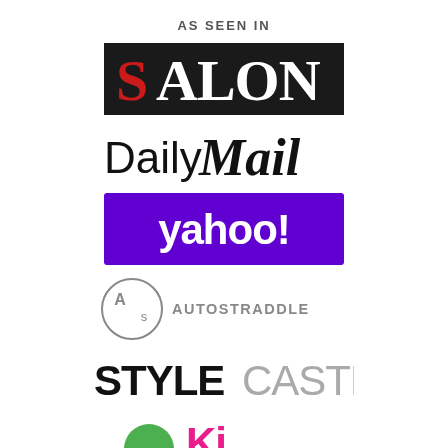AS SEEN IN
[Figure (logo): Salon logo — white and red text on black background, serif font]
[Figure (logo): Daily Mail logo — black text, 'Daily' in regular sans-serif and 'Mail' in blackletter/gothic font]
[Figure (logo): Yahoo! logo — white lowercase text on purple/violet rectangular background]
[Figure (logo): Autostraddle logo — circle icon with A and s letters plus AUTOSTRADDLE text in gray]
[Figure (logo): StyleCaster logo — STYLE in black bold and CASTER in gray]
[Figure (logo): Partially visible logo at bottom — green circle icon and pink text starting with K]